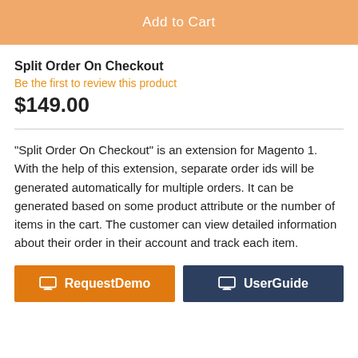[Figure (screenshot): Orange 'Add to Cart' button spanning full width]
Split Order On Checkout
Be the first to review this product
$149.00
"Split Order On Checkout" is an extension for Magento 1. With the help of this extension, separate order ids will be generated automatically for multiple orders. It can be generated based on some product attribute or the number of items in the cart. The customer can view detailed information about their order in their account and track each item.
[Figure (screenshot): Two buttons: orange 'RequestDemo' and dark navy 'UserGuide']